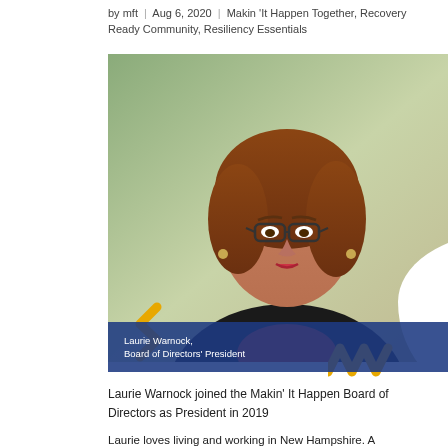by mft | Aug 6, 2020 | Makin 'It Happen Together, Recovery Ready Community, Resiliency Essentials
[Figure (photo): Composite image featuring Laurie Warnock, Board of Directors President, with a blue and white graphic overlay reading 'Board of Directors Spotlight – Makin' It Happen' and gold zigzag decorations. Social media icons (Facebook, Twitter, Instagram) in a dark blue sidebar on the right.]
Laurie Warnock joined the Makin' It Happen Board of Directors as President in 2019
Laurie loves living and working in New Hampshire. A